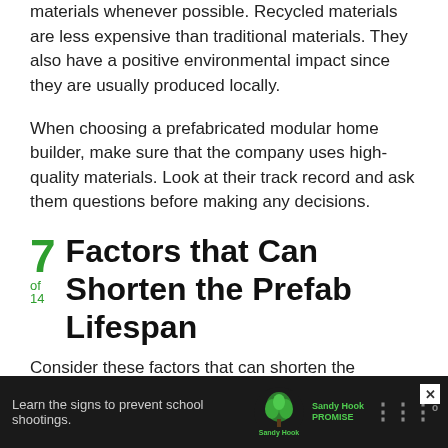materials whenever possible. Recycled materials are less expensive than traditional materials. They also have a positive environmental impact since they are usually produced locally.
When choosing a prefabricated modular home builder, make sure that the company uses high-quality materials. Look at their track record and ask them questions before making any decisions.
7 of 14 Factors that Can Shorten the Prefab Lifespan
Consider these factors that can shorten the longevity of any prefab construction.
[Figure (screenshot): Advertisement banner: dark background with text 'Learn the signs to prevent school shootings.' Sandy Hook Promise logo (green tree) and a media brand logo on right. Close button (X) in top right corner.]